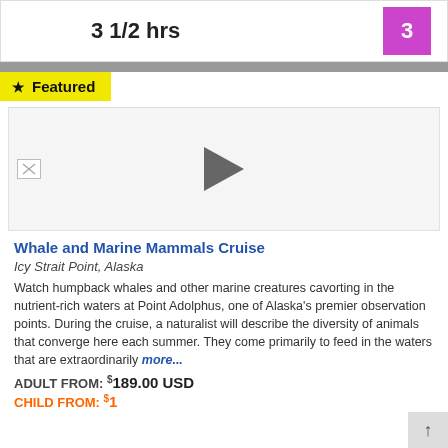3 1/2 hrs
3
★ Featured
[Figure (screenshot): Video thumbnail area with play button and broken image icon on left]
Whale and Marine Mammals Cruise
Icy Strait Point, Alaska
Watch humpback whales and other marine creatures cavorting in the nutrient-rich waters at Point Adolphus, one of Alaska's premier observation points. During the cruise, a naturalist will describe the diversity of animals that converge here each summer. They come primarily to feed in the waters that are extraordinarily more...
ADULT FROM: $189.00 USD
CHILD FROM: $100.00 USD